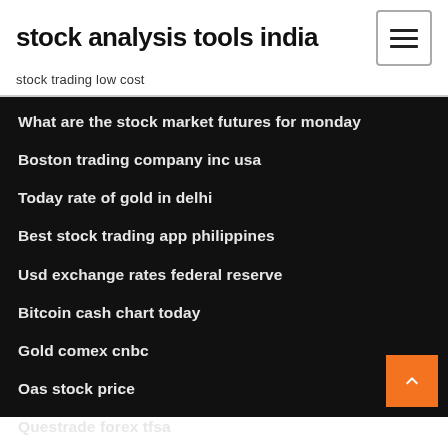stock analysis tools india
stock trading low cost
What are the stock market futures for monday
Boston trading company inc usa
Today rate of gold in delhi
Best stock trading app philippines
Usd exchange rates federal reserve
Bitcoin cash chart today
Gold comex cnbc
Oas stock price
Questrade forex tfsa
Stellar or ripple 2020